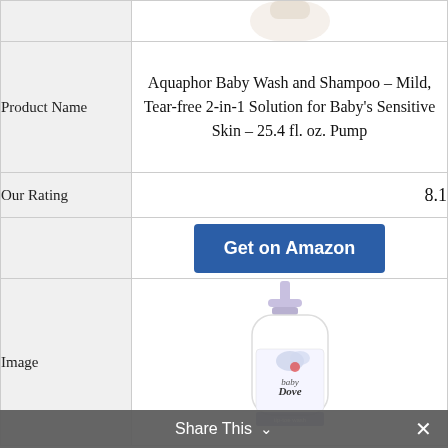|  |  |
| --- | --- |
|  | (Aquaphor bottle top image) |
| Product Name | Aquaphor Baby Wash and Shampoo – Mild, Tear-free 2-in-1 Solution for Baby's Sensitive Skin – 25.4 fl. oz. Pump |
| Our Rating | 8.1 |
|  | Get on Amazon |
| Image | (Baby Dove bottle image) |
Share This